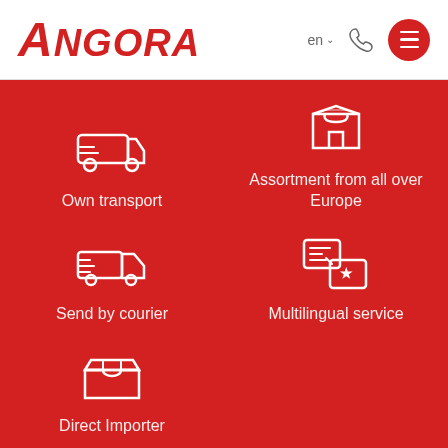[Figure (logo): Angora company logo in red italic font]
[Figure (screenshot): Website header navigation with language selector (en), phone icon, and hamburger menu button]
[Figure (infographic): Red background section with 5 service feature icons and labels: Own transport (van/bus icon), Assortment from all over Europe (clothing/shirt icon), Send by courier (delivery truck icon), Multilingual service (translation/globe icon), Direct Importer (open box icon)]